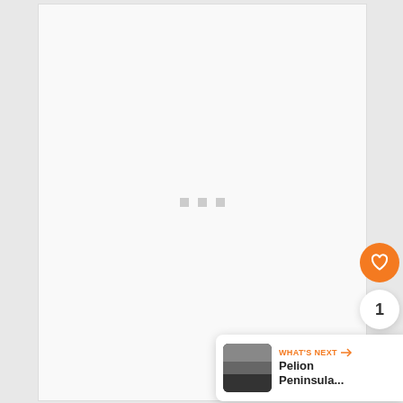[Figure (screenshot): Loading screen with three small grey square dots centered on a light grey/white background]
[Figure (other): Orange circular heart/favourite button]
1
[Figure (other): White circular share button with share icon]
WHAT'S NEXT → Pelion Peninsula...